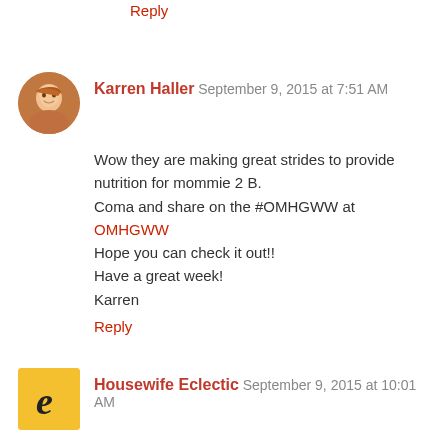Reply
Karren Haller  September 9, 2015 at 7:51 AM
Wow they are making great strides to provide nutrition for mommie 2 B.
Coma and share on the #OMHGWW at OMHGWW
Hope you can check it out!!
Have a great week!
Karren
Reply
Housewife Eclectic  September 9, 2015 at 10:01 AM
These are awesome! I will have to get some next time I am pregnant!
Reply
Laura - Eye Candy Creative Studio  September 9, 2015 at 8:26 PM